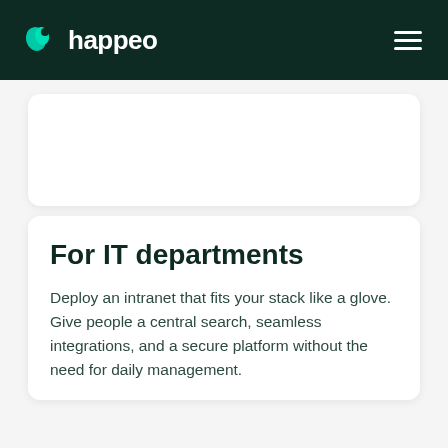happeo
[Figure (illustration): White card with rounded corners — empty content area]
For IT departments
Deploy an intranet that fits your stack like a glove. Give people a central search, seamless integrations, and a secure platform without the need for daily management.